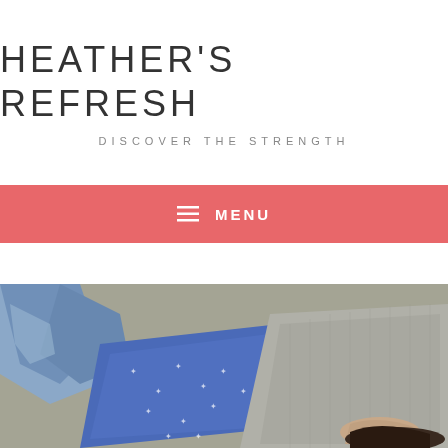HEATHER'S REFRESH
DISCOVER THE STRENGTH
≡ MENU
[Figure (photo): Woman lying on pavement wearing blue patterned top, jeans, and grey knit cardigan, hand over face]